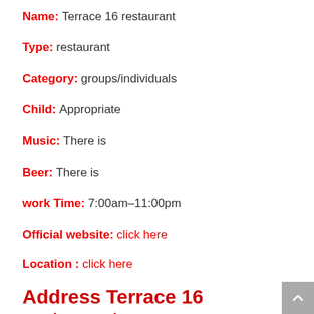Name: Terrace 16 restaurant
Type: restaurant
Category: groups/individuals
Child: Appropriate
Music: There is
Beer: There is
work Time: 7:00am–11:00pm
Official website: click here
Location : click here
Address Terrace 16 restaurant
,N Wabash Ave 16th Floor, Chicago, IL 60611 401